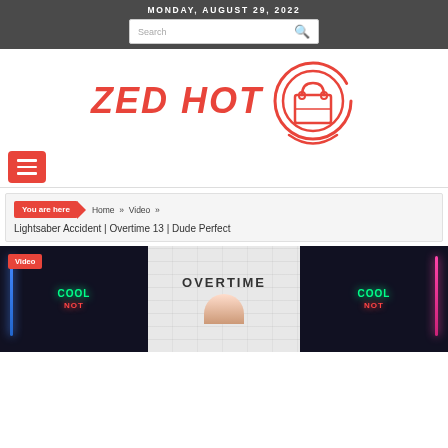MONDAY, AUGUST 29, 2022
[Figure (screenshot): Search bar with magnifying glass icon on dark header]
[Figure (logo): ZED HOT logo with red text and shopping bag icon in circle]
[Figure (other): Red hamburger menu button]
You are here  Home » Video »
Lightsaber Accident | Overtime 13 | Dude Perfect
[Figure (screenshot): Video thumbnail showing Overtime show with Cool Not logo on screens and a person, labeled Video]